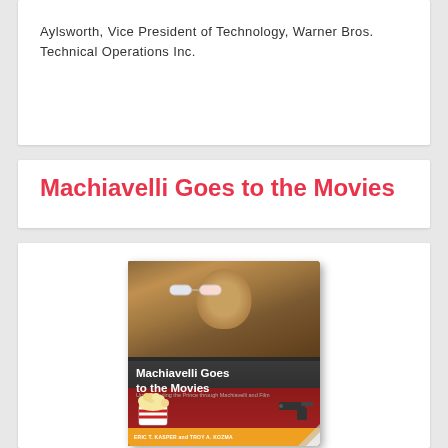Aylsworth, Vice President of Technology, Warner Bros. Technical Operations Inc.
Machiavelli Goes to the Movies
[Figure (photo): Book cover of 'Machiavelli Goes to the Movies' showing a Renaissance portrait figure wearing 3D glasses, with popcorn and a gun, dark background with title overlay and orange author bar at the bottom.]